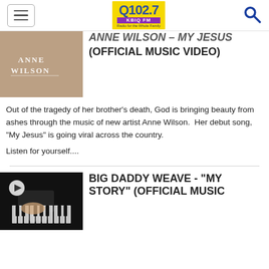Q102.7 KBIQ FM - Radio for the Whole Family
[Figure (screenshot): Anne Wilson album cover thumbnail with text 'ANNE WILSON']
ANNE WILSON - MY JESUS (OFFICIAL MUSIC VIDEO)
Out of the tragedy of her brother's death, God is bringing beauty from ashes through the music of new artist Anne Wilson.  Her debut song, "My Jesus" is going viral across the country.
Listen for yourself....
[Figure (screenshot): Dark thumbnail showing hands on piano with play button overlay]
BIG DADDY WEAVE - "MY STORY" (OFFICIAL MUSIC